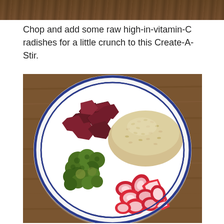[Figure (photo): Partial view of a food photo at the top of the page, showing a wooden table background]
Chop and add some raw high-in-vitamin-C radishes for a little crunch to this Create-A-Stir.
[Figure (photo): Overhead photo of a white plate with blue rim on a wooden table, containing chopped dark red beets (upper left), brown rice (upper right), roasted broccoli (lower left), and sliced raw radishes (lower center/right)]